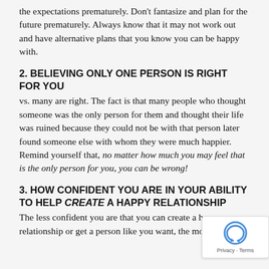the expectations prematurely. Don't fantasize and plan for the future prematurely. Always know that it may not work out and have alternative plans that you know you can be happy with.
2. BELIEVING ONLY ONE PERSON IS RIGHT FOR YOU
vs. many are right. The fact is that many people who thought someone was the only person for them and thought their life was ruined because they could not be with that person later found someone else with whom they were much happier. Remind yourself that, no matter how much you may feel that is the only person for you, you can be wrong!
3. HOW CONFIDENT YOU ARE IN YOUR ABILITY TO HELP CREATE A HAPPY RELATIONSHIP
The less confident you are that you can create a happy relationship or get a person like you want, the more you are: